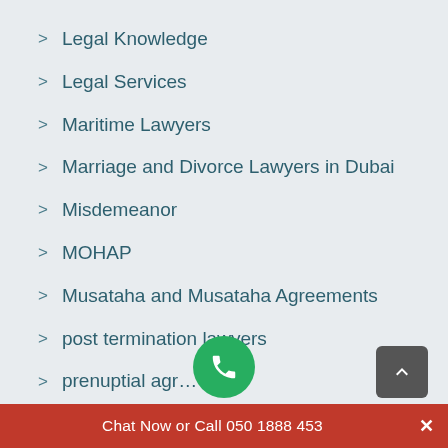Legal Knowledge
Legal Services
Maritime Lawyers
Marriage and Divorce Lawyers in Dubai
Misdemeanor
MOHAP
Musataha and Musataha Agreements
post termination lawyers
prenuptial agr…
Chat Now or Call 050 1888 453